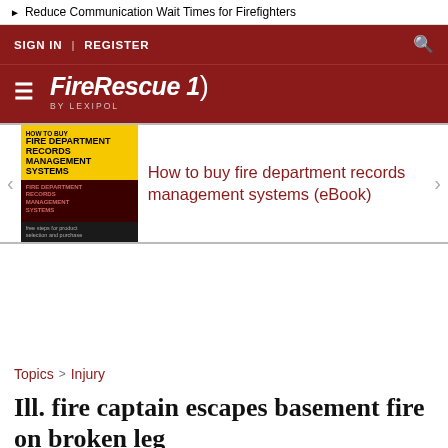▶ Reduce Communication Wait Times for Firefighters
SIGN IN  |  REGISTER
FireRescue1 by Lexipol
[Figure (screenshot): Promotional eBook card for 'How to buy fire department records management systems' with book cover thumbnail on left and title link on right]
Topics  >  Injury
Ill. fire captain escapes basement fire on broken leg